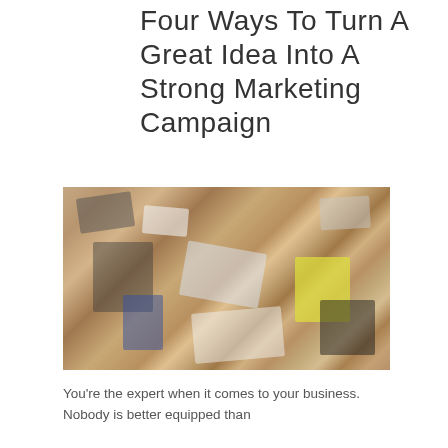Four Ways To Turn A Great Idea Into A Strong Marketing Campaign
[Figure (photo): Overhead view of a table covered with papers, notebooks, devices, and miscellaneous items being reviewed by people, suggesting a brainstorming or planning session.]
You're the expert when it comes to your business. Nobody is better equipped than